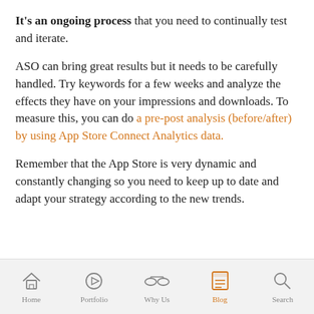It's an ongoing process that you need to continually test and iterate.
ASO can bring great results but it needs to be carefully handled. Try keywords for a few weeks and analyze the effects they have on your impressions and downloads. To measure this, you can do a pre-post analysis (before/after) by using App Store Connect Analytics data.
Remember that the App Store is very dynamic and constantly changing so you need to keep up to date and adapt your strategy according to the new trends.
Home | Portfolio | Why Us | Blog | Search